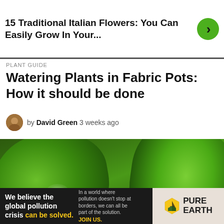15 Traditional Italian Flowers: You Can Easily Grow In Your...
PLANT GUIDE
Watering Plants in Fabric Pots: How it should be done
by David Green 3 weeks ago
[Figure (photo): Close-up photo of green limes or avocados against a purple background]
We believe the global pollution crisis can be solved. In a world where pollution doesn't stop at borders, we can all be part of the solution. JOIN US. PURE EARTH